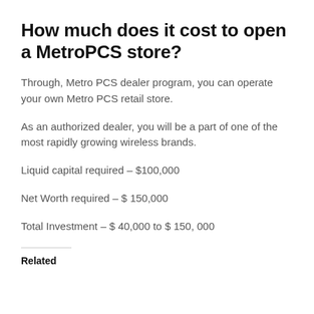How much does it cost to open a MetroPCS store?
Through, Metro PCS dealer program, you can operate your own Metro PCS retail store.
As an authorized dealer, you will be a part of one of the most rapidly growing wireless brands.
Liquid capital required – $100,000
Net Worth required – $ 150,000
Total Investment – $ 40,000 to $ 150, 000
Related